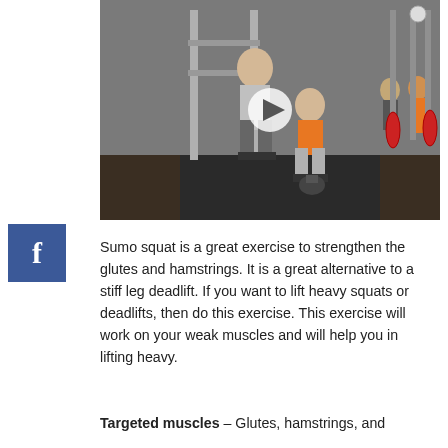[Figure (photo): A gym training scene showing a male trainer coaching a woman doing a sumo squat with a kettlebell. Other gym-goers are visible in the background with squat racks and weight equipment. A video play button is overlaid in the center.]
[Figure (logo): Facebook 'f' logo icon in a blue square]
Sumo squat is a great exercise to strengthen the glutes and hamstrings. It is a great alternative to a stiff leg deadlift. If you want to lift heavy squats or deadlifts, then do this exercise. This exercise will work on your weak muscles and will help you in lifting heavy.
Targeted muscles – Glutes, hamstrings, and